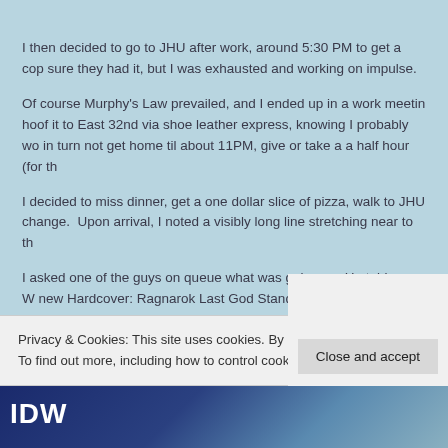I then decided to go to JHU after work, around 5:30 PM to get a cop sure they had it, but I was exhausted and working on impulse.
Of course Murphy's Law prevailed, and I ended up in a work meetin hoof it to East 32nd via shoe leather express, knowing I probably wo in turn not get home til about 11PM, give or take a a half hour (for th
I decided to miss dinner, get a one dollar slice of pizza, walk to JHU change.  Upon arrival, I noted a visibly long line stretching near to th
I asked one of the guys on queue what was going on. He told me W new Hardcover: Ragnarok Last God Standing Vol. 1 (IDW).
Privacy & Cookies: This site uses cookies. By continuing to use this website, you agree to their use.
To find out more, including how to control cookies, see here: Cookie Policy
[Figure (illustration): Bottom image strip showing IDW logo and partial book cover image]